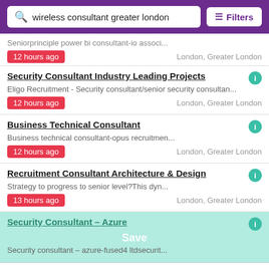wireless consultant greater london | Filters
Seniorprinciple power bi consultant-io associ...
12 hours ago | London, Greater London
Security Consultant Industry Leading Projects
Eligo Recruitment - Security consultant/senior security consultan...
12 hours ago | London, Greater London
Business Technical Consultant
Business technical consultant-opus recruitmen...
12 hours ago | London, Greater London
Recruitment Consultant Architecture & Design
Strategy to progress to senior level?This dyn...
13 hours ago | London, Greater London
Security Consultant – Azure
Security consultant – azure-fused4 ltdsecurit...
Save